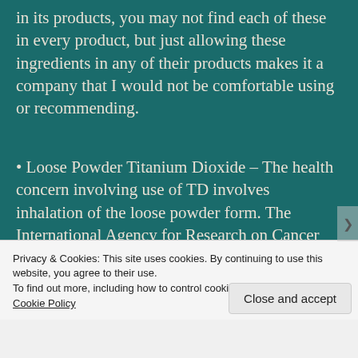in its products, you may not find each of these in every product, but just allowing these ingredients in any of their products makes it a company that I would not be comfortable using or recommending.
• Loose Powder Titanium Dioxide – The health concern involving use of TD involves inhalation of the loose powder form. The International Agency for Research on Cancer identifies inhalable titanium dioxide as potentially
Privacy & Cookies: This site uses cookies. By continuing to use this website, you agree to their use.
To find out more, including how to control cookies, see here:
Cookie Policy